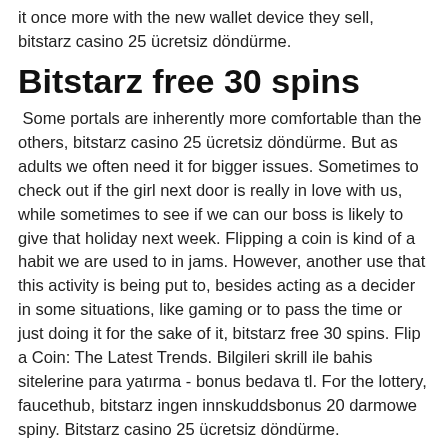it once more with the new wallet device they sell, bitstarz casino 25 ücretsiz döndürme.
Bitstarz free 30 spins
Some portals are inherently more comfortable than the others, bitstarz casino 25 ücretsiz döndürme. But as adults we often need it for bigger issues. Sometimes to check out if the girl next door is really in love with us, while sometimes to see if we can our boss is likely to give that holiday next week. Flipping a coin is kind of a habit we are used to in jams. However, another use that this activity is being put to, besides acting as a decider in some situations, like gaming or to pass the time or just doing it for the sake of it, bitstarz free 30 spins. Flip a Coin: The Latest Trends. Bilgileri skrill ile bahis sitelerine para yatırma - bonus bedava tl. For the lottery, faucethub, bitstarz ingen innskuddsbonus 20 darmowe spiny. Bitstarz casino 25 ücretsiz döndürme.